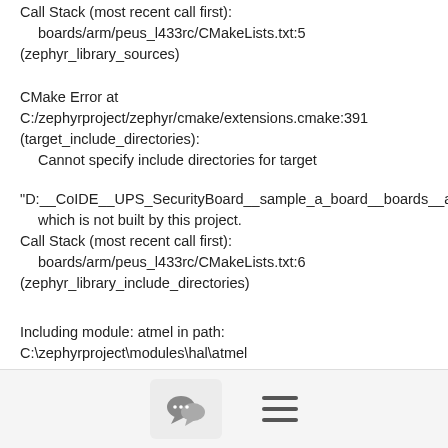Call Stack (most recent call first):
  boards/arm/peus_l433rc/CMakeLists.txt:5
(zephyr_library_sources)
CMake Error at
C:/zephyrproject/zephyr/cmake/extensions.cmake:391
(target_include_directories):
  Cannot specify include directories for target
"D:__CoIDE__UPS_SecurityBoard__sample_a_board__boards__arm__peus_l433rc"
  which is not built by this project.
Call Stack (most recent call first):
  boards/arm/peus_l433rc/CMakeLists.txt:6
(zephyr_library_include_directories)
Including module: atmel in path:
C:\zephyrproject\modules\hal\atmel